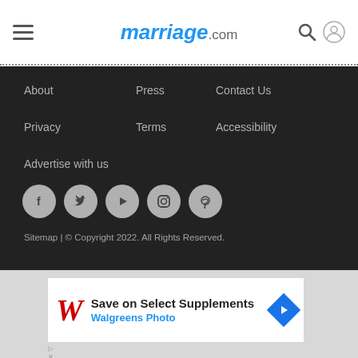marriage.com
About
Press
Contact Us
Privacy
Terms
Accessibility
Advertise with us
[Figure (other): Social media icon buttons: Facebook, Twitter, YouTube/Play, Instagram, Pinterest]
Sitemap | © Copyright 2022. All Rights Reserved.
[Figure (other): Walgreens advertisement: Save on Select Supplements, Walgreens Photo]